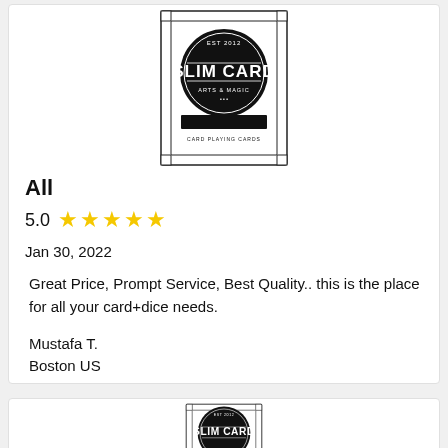[Figure (logo): Slim Card logo — black circular badge with 'SLIM CARD' text, surrounded by a card-shaped frame with decorative corners and 'CARD PLAYING CARDS' text at bottom]
All
5.0 ★★★★★
Jan 30, 2022
Great Price, Prompt Service, Best Quality.. this is the place for all your card+dice needs.
Mustafa T.
Boston US
[Figure (logo): Partial Slim Card logo at bottom of page, cropped]